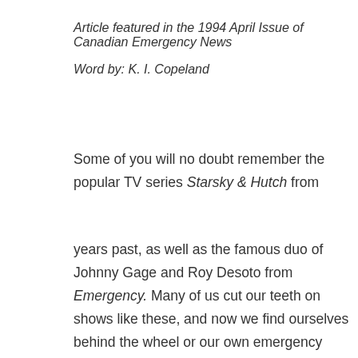Article featured in the 1994 April Issue of Canadian Emergency News
Word by: K. I. Copeland
Some of you will no doubt remember the popular TV series Starsky & Hutch from
years past, as well as the famous duo of Johnny Gage and Roy Desoto from Emergency. Many of us cut our teeth on shows like these, and now we find ourselves behind the wheel or our own emergency vehicles.
Television has been and continues to be a powerful influence on public perceptions. As educated as the main stream public is, many believe that we drive like our TV counterparts, especially TV and the